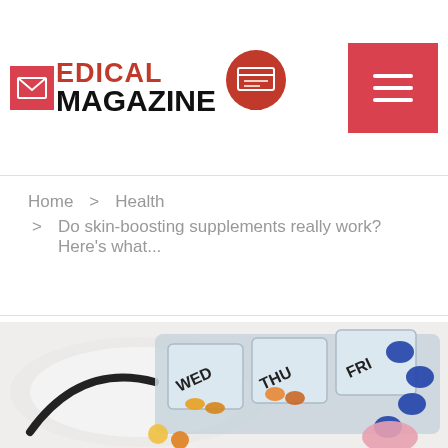MEDICAL MAGAZINE
Home > Health > Do skin-boosting supplements really work? Here's what...
[Figure (photo): Weekly pill organizer with compartments labeled WED, THU, FRI containing colorful pills and capsules, alongside a stethoscope and loose tablets on white background]